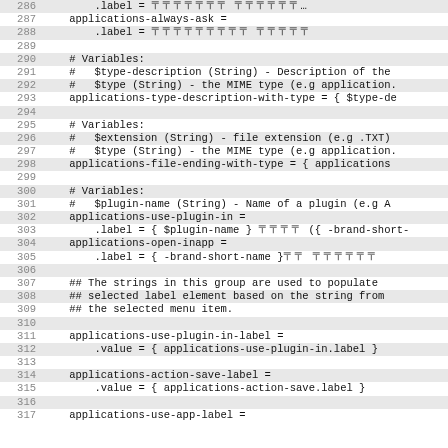Code listing lines 286-317, localization/properties file showing applications-related string keys and their label/value definitions with variable comments.